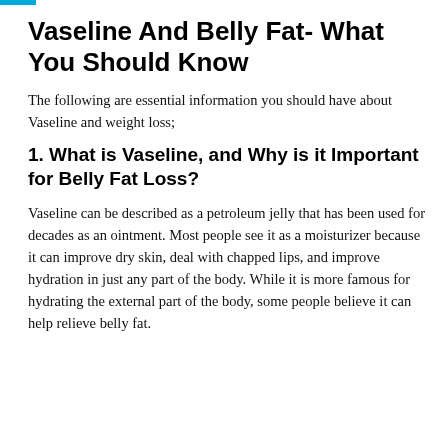Vaseline And Belly Fat- What You Should Know
The following are essential information you should have about Vaseline and weight loss;
1. What is Vaseline, and Why is it Important for Belly Fat Loss?
Vaseline can be described as a petroleum jelly that has been used for decades as an ointment. Most people see it as a moisturizer because it can improve dry skin, deal with chapped lips, and improve hydration in just any part of the body. While it is more famous for hydrating the external part of the body, some people believe it can help relieve belly fat.